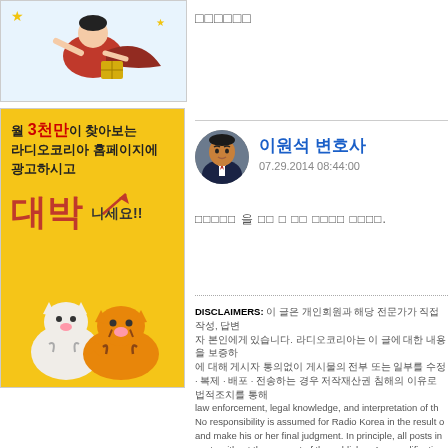[Figure (illustration): Superhero cartoon illustration in top-left area, blue outfit character flying with a package]
[Figure (illustration): Korean advertisement banner with yellow background, text reading 월 3천만이 찾아보는 라디오코리아 홈페이지에 광고하시고 대박나세요!! with cartoon tigers at the bottom]
□□□□□□
이원석 변호사
07.29.2014 08:44:00
[Figure (photo): Portrait photo of 이원석 변호사 (lawyer Lee Won-seok) in circular avatar format]
□□□□□ 을 □□ □ □□ □□□□ □□□□.
DISCLAIMERS: 이 글은 개인회원과 해당 전문가가 직접 작성, 답변 자 본인에게 있습니다. 라디오코리아는 이 글에 대한 내용을 보증하 에 대해 게시자 통의없이 게시물의 전부 또는 일부를 수정·복제·배포·전송하는 경우 저작재산권 침해의 이유로 법적조치를 통해 law enforcement, legal knowledge, and interpretation of th No responsibility is assumed for Radio Korea in the result o and make his or her final judgment. In principle, all posts in posts without the consent of the publisher. Any modificatio criminal liability.